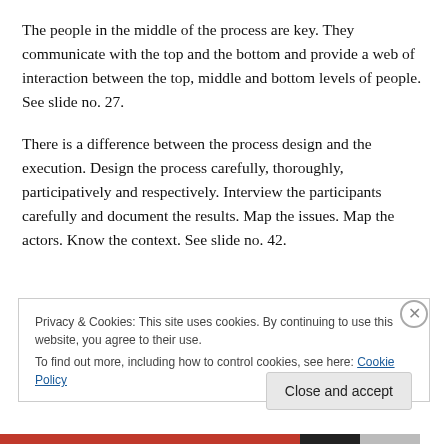The people in the middle of the process are key. They communicate with the top and the bottom and provide a web of interaction between the top, middle and bottom levels of people. See slide no. 27.
There is a difference between the process design and the execution. Design the process carefully, thoroughly, participatively and respectively. Interview the participants carefully and document the results. Map the issues. Map the actors. Know the context. See slide no. 42.
Privacy & Cookies: This site uses cookies. By continuing to use this website, you agree to their use.
To find out more, including how to control cookies, see here: Cookie Policy
Close and accept